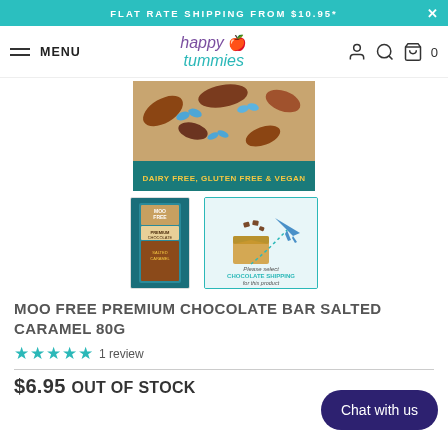FLAT RATE SHIPPING FROM $10.95*
happy tummies — MENU — navigation icons — cart 0
[Figure (photo): Main product image of Moo Free Premium Chocolate Bar Salted Caramel 80g packaging — colorful illustrated packaging with blue butterflies and text 'DAIRY FREE, GLUTEN FREE & VEGAN' on a teal band]
[Figure (photo): Thumbnail 1: Moo Free chocolate bar tall product shot on teal background]
[Figure (photo): Thumbnail 2: Chocolate shipping notice — cardboard box with airplane illustration and text 'Please select CHOCOLATE SHIPPING for this product']
MOO FREE PREMIUM CHOCOLATE BAR SALTED CARAMEL 80G
★★★★★ 1 review
$6.95 OUT OF STOCK